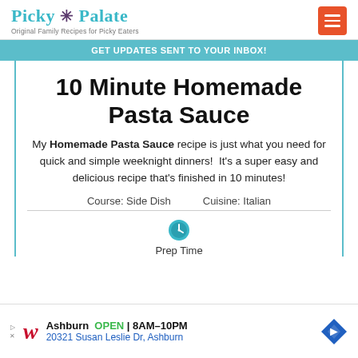Picky Palate — Original Family Recipes for Picky Eaters
GET UPDATES SENT TO YOUR INBOX!
10 Minute Homemade Pasta Sauce
My Homemade Pasta Sauce recipe is just what you need for quick and simple weeknight dinners! It's a super easy and delicious recipe that's finished in 10 minutes!
Course: Side Dish    Cuisine: Italian
Prep Time